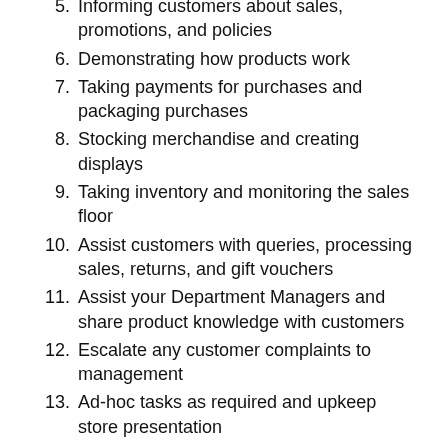5. Informing customers about sales, promotions, and policies
6. Demonstrating how products work
7. Taking payments for purchases and packaging purchases
8. Stocking merchandise and creating displays
9. Taking inventory and monitoring the sales floor
10. Assist customers with queries, processing sales, returns, and gift vouchers
11. Assist your Department Managers and share product knowledge with customers
12. Escalate any customer complaints to management
13. Ad-hoc tasks as required and upkeep store presentation